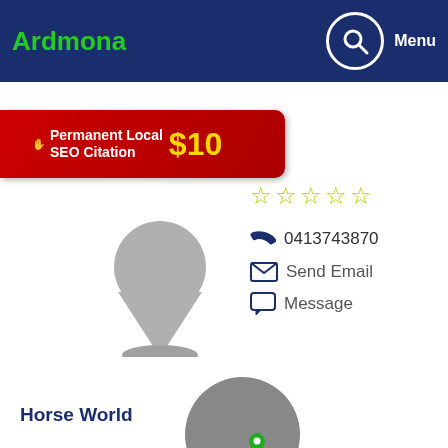Ardmona
[Figure (screenshot): Permanent Local SEO Citation $10 banner ad in red]
[Figure (illustration): Gray map location pin icon for Horse World]
0413743870
Send Email
Message
Horse World
144.7kms
[Figure (illustration): Gray map location pin icon for Muddy Paws Dog Bowls]
0423417473
Send Email
Message
Muddy Paws Dog Bowls
145.1kms